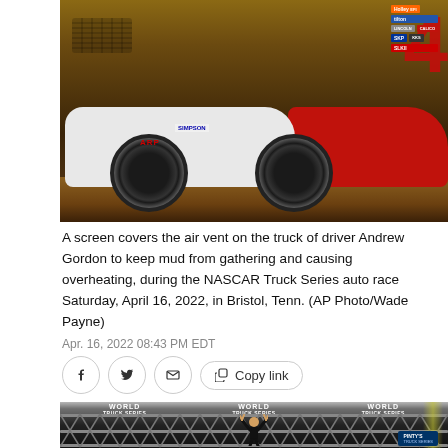[Figure (photo): Close-up of a NASCAR truck (white and red, number 4) on a dirt track, showing the front wheel and sponsor stickers including ARP, Simpson, Holley, Tilton, Calico, SKF, Lincoln. The truck's air vent is covered with a screen to keep out mud.]
A screen covers the air vent on the truck of driver Andrew Gordon to keep mud from gathering and causing overheating, during the NASCAR Truck Series auto race Saturday, April 16, 2022, in Bristol, Tenn. (AP Photo/Wade Payne)
Apr. 16, 2022 08:43 PM EDT
[Figure (photo): A race winner celebrating on a podium with arms raised, with World Truck Series banners in the background and confetti falling. A Pinty's branded sign is visible at bottom right.]